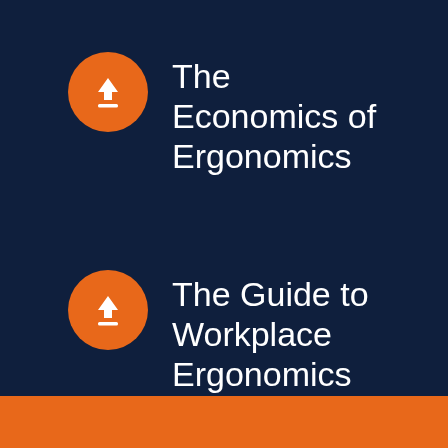[Figure (infographic): Orange circle with white download arrow icon and underline bar, representing a downloadable resource]
The Economics of Ergonomics
[Figure (infographic): Orange circle with white download arrow icon and underline bar, representing a downloadable resource]
The Guide to Workplace Ergonomics